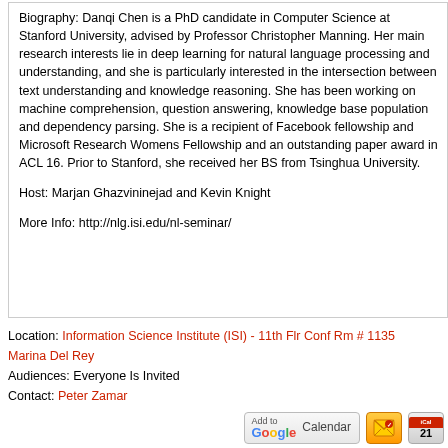Biography: Danqi Chen is a PhD candidate in Computer Science at Stanford University, advised by Professor Christopher Manning. Her main research interests lie in deep learning for natural language processing and understanding, and she is particularly interested in the intersection between text understanding and knowledge reasoning. She has been working on machine comprehension, question answering, knowledge base population and dependency parsing. She is a recipient of Facebook fellowship and Microsoft Research Womens Fellowship and an outstanding paper award in ACL 16. Prior to Stanford, she received her BS from Tsinghua University.
Host: Marjan Ghazvininejad and Kevin Knight
More Info: http://nlg.isi.edu/nl-seminar/
Location: Information Science Institute (ISI) - 11th Flr Conf Rm # 1135 Marina Del Rey
Audiences: Everyone Is Invited
Contact: Peter Zamar
[Figure (other): Add to Google Calendar, orange envelope icon, and iCal icon buttons]